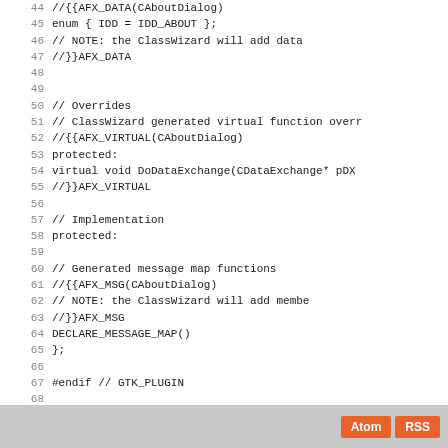Code listing lines 44-72 showing C++ class definition with AFX macros
Atom RSS